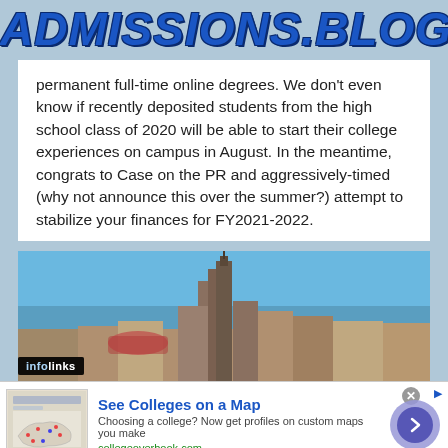ADMISSIONS.BLOG
permanent full-time online degrees. We don't even know if recently deposited students from the high school class of 2020 will be able to start their college experiences on campus in August. In the meantime, congrats to Case on the PR and aggressively-timed (why not announce this over the summer?) attempt to stabilize your finances for FY2021-2022.
[Figure (photo): Aerial photo of a city skyline (Cleveland) with buildings, lake/ocean in background, blue sky]
infolinks
See Colleges on a Map
Choosing a college? Now get profiles on custom maps you make
collegeoverbook.com